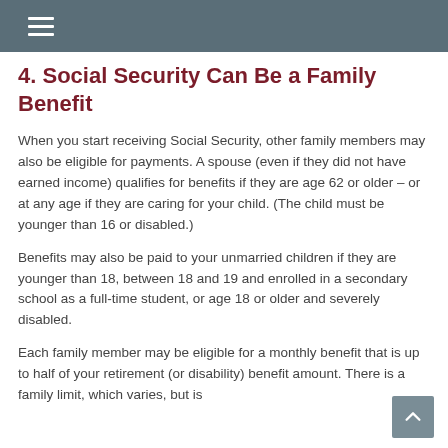4. Social Security Can Be a Family Benefit
When you start receiving Social Security, other family members may also be eligible for payments. A spouse (even if they did not have earned income) qualifies for benefits if they are age 62 or older – or at any age if they are caring for your child. (The child must be younger than 16 or disabled.)
Benefits may also be paid to your unmarried children if they are younger than 18, between 18 and 19 and enrolled in a secondary school as a full-time student, or age 18 or older and severely disabled.
Each family member may be eligible for a monthly benefit that is up to half of your retirement (or disability) benefit amount. There is a family limit, which varies, but is